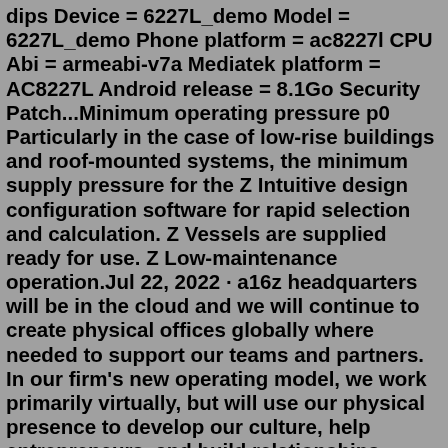dips Device = 6227L_demo Model = 6227L_demo Phone platform = ac8227l CPU Abi = armeabi-v7a Mediatek platform = AC8227L Android release = 8.1Go Security Patch...Minimum operating pressure p0 Particularly in the case of low-rise buildings and roof-mounted systems, the minimum supply pressure for the Z Intuitive design configuration software for rapid selection and calculation. Z Vessels are supplied ready for use. Z Low-maintenance operation.Jul 22, 2022 · a16z headquarters will be in the cloud and we will continue to create physical offices globally where needed to support our teams and partners. In our firm's new operating model, we work primarily virtually, but will use our physical presence to develop our culture, help entrepreneurs, and build relationships. Precisely, a business model is a holistic framework to define, understand, and design your entire business in the industry. Often novice entrepreneurs do not understand the significance of the business models. Check out 50 different types of business models, along with examples of companies